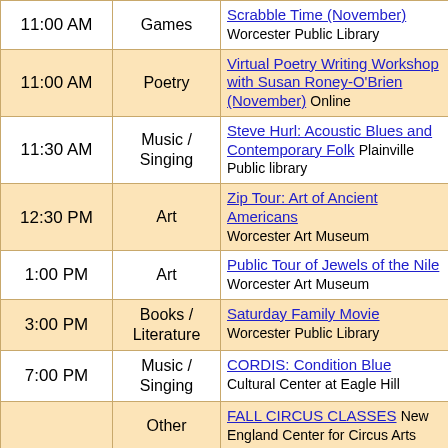| Time | Category | Event / Location |
| --- | --- | --- |
| 11:00 AM | Games | Scrabble Time (November) Worcester Public Library |
| 11:00 AM | Poetry | Virtual Poetry Writing Workshop with Susan Roney-O'Brien (November) Online |
| 11:30 AM | Music / Singing | Steve Hurl: Acoustic Blues and Contemporary Folk Plainville Public library |
| 12:30 PM | Art | Zip Tour: Art of Ancient Americans Worcester Art Museum |
| 1:00 PM | Art | Public Tour of Jewels of the Nile Worcester Art Museum |
| 3:00 PM | Books / Literature | Saturday Family Movie Worcester Public Library |
| 7:00 PM | Music / Singing | CORDIS: Condition Blue Cultural Center at Eagle Hill |
|  | Other | FALL CIRCUS CLASSES New England Center for Circus Arts |
|  | Art | Jewels of the Nile: Ancient Egyptian Treasures from the Collection of the Worcester... |